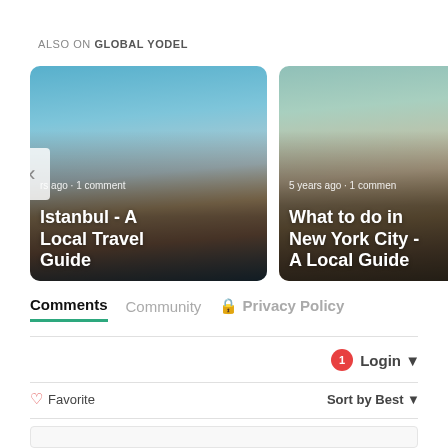ALSO ON GLOBAL YODEL
[Figure (photo): Card showing Istanbul cityscape photo with text overlay: 'Istanbul - A Local Travel Guide', metadata: 'rs ago · 1 comment']
[Figure (photo): Card showing New York City Grand Central photo with text overlay: 'What to do in New York City - A Local Guide', metadata: '5 years ago · 1 comment']
Comments   Community   🔒 Privacy Policy
1  Login ▾
♡ Favorite   Sort by Best ▾